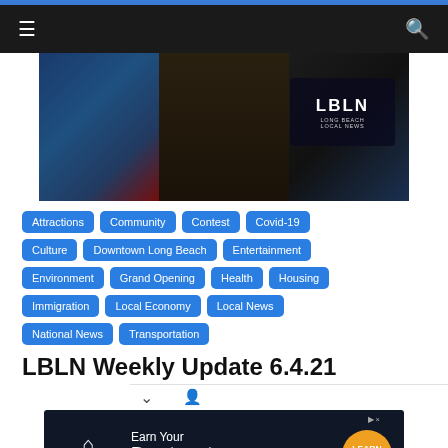Navigation bar with hamburger menu and search icon
[Figure (screenshot): News anchor sitting at desk with LBLN Long Beach Local News logo on screen in background]
Attractions
Community
Contest
Covid-19
Culture
Downtown Long Beach
Entertainment
Environment
Grand Opening
Health
Housing
Immigration
Local Economy
Local News
National News
Transportation
LBLN Weekly Update 6.4.21
[Figure (photo): Franklin University advertisement: Earn Your Doctorate 100% Online - Learn More button]